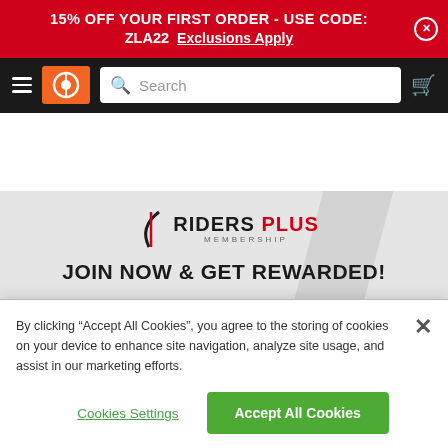15% OFF YOUR FIRST ORDER - USE CODE: ZLA22  Exclusions Apply
[Figure (screenshot): Navigation bar with hamburger menu, orange logo, search bar, and cart icon]
[Figure (logo): Riders Plus Membership logo with tagline JOIN NOW & GET REWARDED!]
By clicking “Accept All Cookies”, you agree to the storing of cookies on your device to enhance site navigation, analyze site usage, and assist in our marketing efforts.
Cookies Settings  Accept All Cookies